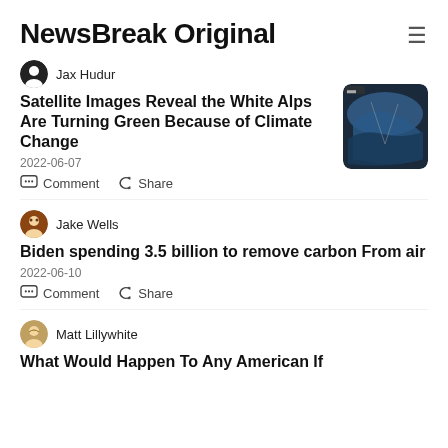NewsBreak Original
Jax Hudur
Satellite Images Reveal the White Alps Are Turning Green Because of Climate Change
2022-06-07
Comment  Share
[Figure (photo): Satellite image of Earth showing mountain/glacier region from space]
Jake Wells
Biden spending 3.5 billion to remove carbon From air
2022-06-10
Comment  Share
Matt Lillywhite
What Would Happen To Any American If...